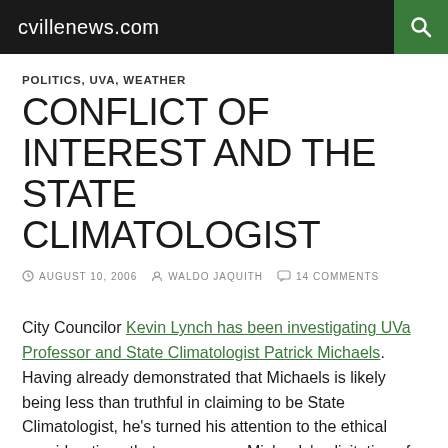cvillenews.com
POLITICS, UVA, WEATHER
CONFLICT OF INTEREST AND THE STATE CLIMATOLOGIST
AUGUST 10, 2006  WALDO JAQUITH  14 COMMENTS
City Councilor Kevin Lynch has been investigating UVa Professor and State Climatologist Patrick Michaels. Having already demonstrated that Michaels is likely being less than truthful in claiming to be State Climatologist, he's turned his attention to the ethical considerations that accompany Michaels' solicitation of contributions from power companies.